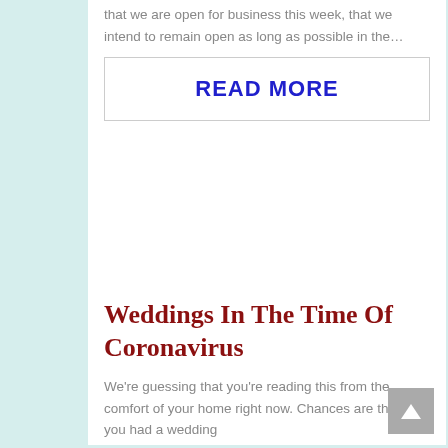that we are open for business this week, that we intend to remain open as long as possible in the…
READ MORE
Weddings In The Time Of Coronavirus
We're guessing that you're reading this from the comfort of your home right now. Chances are that if you had a wedding